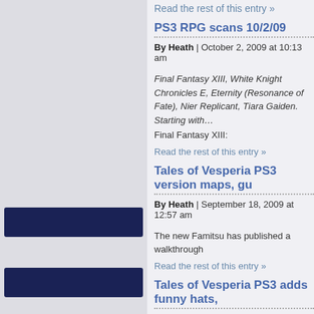Read the rest of this entry »
PS3 RPG scans 10/2/09
By Heath | October 2, 2009 at 10:13 am
Final Fantasy XIII, White Knight Chronicles E, Eternity (Resonance of Fate), Nier Replicant, Tiara Gaiden. Starting with…
Final Fantasy XIII:
Read the rest of this entry »
Tales of Vesperia PS3 version maps, gu
By Heath | September 18, 2009 at 12:57 am
The new Famitsu has published a walkthrough
Read the rest of this entry »
Tales of Vesperia PS3 adds funny hats,
By Heath | August 30, 2009 at 7:21 pm
Including bucketheads, carnival masks, pus character....